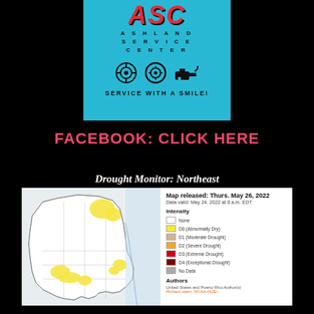[Figure (logo): ASC Ashland Service Center logo on cyan/teal background with car service icons and text SERVICE WITH A SMILE!]
FACEBOOK: CLICK HERE
Drought Monitor: Northeast
[Figure (map): US Drought Monitor map of the Northeast region showing drought intensity as of May 24, 2022. Map released Thurs. May 26, 2022. Yellow areas indicate D0 Abnormally Dry conditions, particularly in Maine, Massachusetts, and New York. Legend shows intensity levels from None through D4 Exceptional Drought. Authors: United States and Puerto Rico Author(s), Richard Heim, NOAA-NCEI.]